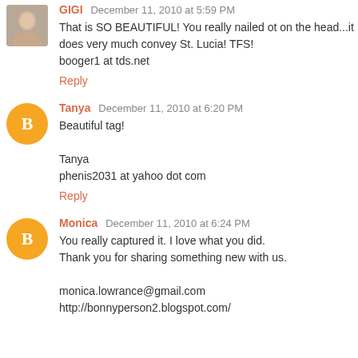GIGI December 11, 2010 at 5:59 PM
That is SO BEAUTIFUL! You really nailed ot on the head...it does very much convey St. Lucia! TFS!
booger1 at tds.net
Reply
Tanya December 11, 2010 at 6:20 PM
Beautiful tag!

Tanya
phenis2031 at yahoo dot com
Reply
Monica December 11, 2010 at 6:24 PM
You really captured it. I love what you did.
Thank you for sharing something new with us.

monica.lowrance@gmail.com
http://bonnyperson2.blogspot.com/